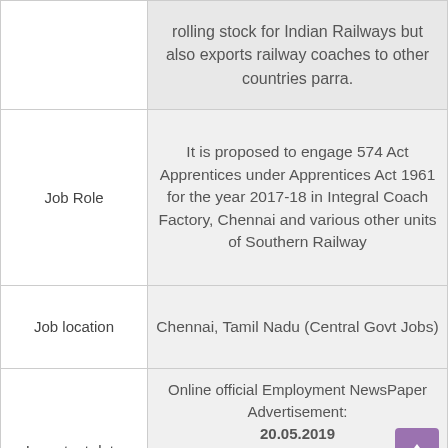| Field | Details |
| --- | --- |
|  | rolling stock for Indian Railways but also exports railway coaches to other countries parra. |
| Job Role | It is proposed to engage 574 Act Apprentices under Apprentices Act 1961 for the year 2017-18 in Integral Coach Factory, Chennai and various other units of Southern Railway |
| Job location | Chennai, Tamil Nadu (Central Govt Jobs) |
| Important date | Online official Employment NewsPaper Advertisement: 20.05.2019
Apply Online from 20.05.2018 to 24.06.2019
Last date for applying ICF : 24.06.2019
Declaration of Shortlisted List... |